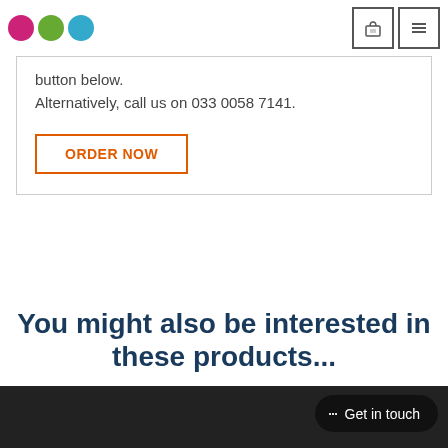[Figure (logo): Three colored circles logo — pink, green, blue]
[Figure (infographic): Navigation icons: shopping basket and hamburger menu]
button below.
Alternatively, call us on 033 0058 7141.
ORDER NOW
You might also be interested in these products...
[Figure (photo): Bottom image strip — dark photo visible at bottom edge]
Get in touch